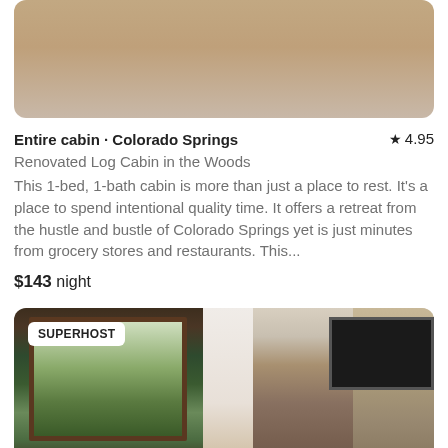[Figure (photo): Top portion of a photo showing sandy/rocky terrain, partially visible at top of page]
Entire cabin · Colorado Springs  ★ 4.95
Renovated Log Cabin in the Woods
This 1-bed, 1-bath cabin is more than just a place to rest. It's a place to spend intentional quality time. It offers a retreat from the hustle and bustle of Colorado Springs yet is just minutes from grocery stores and restaurants. This...
$143 night
[Figure (photo): Interior of a log cabin showing large wooden-framed windows with forest view on the left, and a stone fireplace with mounted TV on the right. A SUPERHOST badge is visible in the top left corner.]